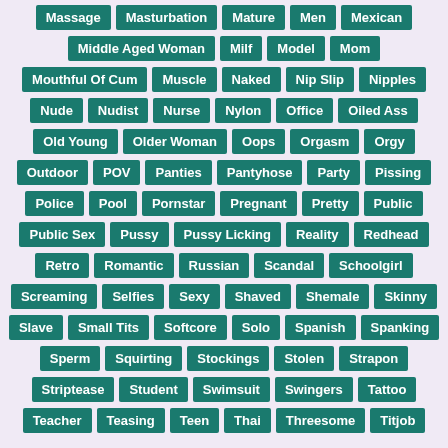Massage
Masturbation
Mature
Men
Mexican
Middle Aged Woman
Milf
Model
Mom
Mouthful Of Cum
Muscle
Naked
Nip Slip
Nipples
Nude
Nudist
Nurse
Nylon
Office
Oiled Ass
Old Young
Older Woman
Oops
Orgasm
Orgy
Outdoor
POV
Panties
Pantyhose
Party
Pissing
Police
Pool
Pornstar
Pregnant
Pretty
Public
Public Sex
Pussy
Pussy Licking
Reality
Redhead
Retro
Romantic
Russian
Scandal
Schoolgirl
Screaming
Selfies
Sexy
Shaved
Shemale
Skinny
Slave
Small Tits
Softcore
Solo
Spanish
Spanking
Sperm
Squirting
Stockings
Stolen
Strapon
Striptease
Student
Swimsuit
Swingers
Tattoo
Teacher
Teasing
Teen
Thai
Threesome
Titjob